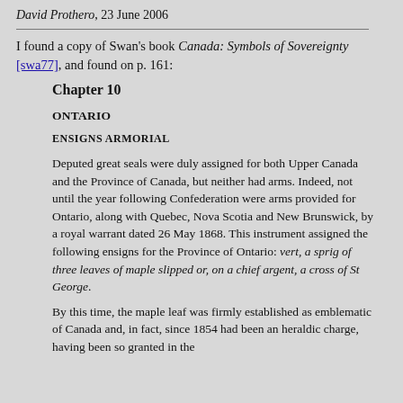Image submitted by David Prothero, 23 June 2006
I found a copy of Swan's book Canada: Symbols of Sovereignty [swa77], and found on p. 161:
Chapter 10
ONTARIO
ENSIGNS ARMORIAL
Deputed great seals were duly assigned for both Upper Canada and the Province of Canada, but neither had arms. Indeed, not until the year following Confederation were arms provided for Ontario, along with Quebec, Nova Scotia and New Brunswick, by a royal warrant dated 26 May 1868. This instrument assigned the following ensigns for the Province of Ontario: vert, a sprig of three leaves of maple slipped or, on a chief argent, a cross of St George.
By this time, the maple leaf was firmly established as emblematic of Canada and, in fact, since 1854 had been an heraldic charge, having been so granted in the